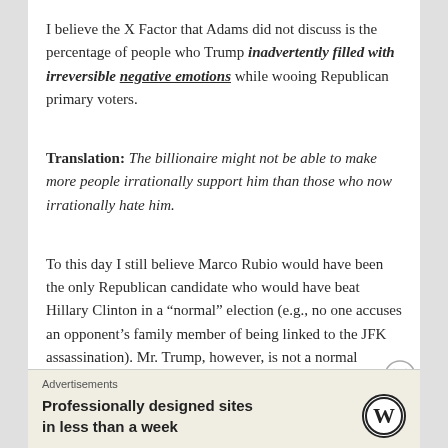I believe the X Factor that Adams did not discuss is the percentage of people who Trump inadvertently filled with irreversible negative emotions while wooing Republican primary voters.
Translation: The billionaire might not be able to make more people irrationally support him than those who now irrationally hate him.
To this day I still believe Marco Rubio would have been the only Republican candidate who would have beat Hillary Clinton in a “normal” election (e.g., no one accuses an opponent’s family member of being linked to the JFK assassination). Mr. Trump, however, is not a normal candidate.
Advertisements
Professionally designed sites in less than a week